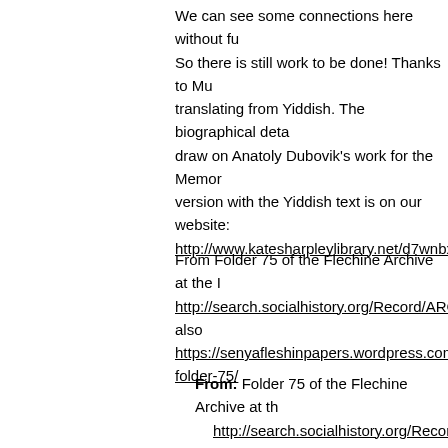We can see some connections here without fu... So there is still work to be done! Thanks to Mu... translating from Yiddish. The biographical deta... draw on Anatoly Dubovik's work for the Memor... version with the Yiddish text is on our website: http://www.katesharpleylibrary.net/d7wnbx.
From Folder 75 of the Flechine Archive at the I... http://search.socialhistory.org/Record/ARCH00... also https://senyafleshinpapers.wordpress.com... folder-75/
From: Folder 75 of the Flechine Archive at th... http://search.socialhistory.org/Record/ARCH... Translated by: Murray Glick...